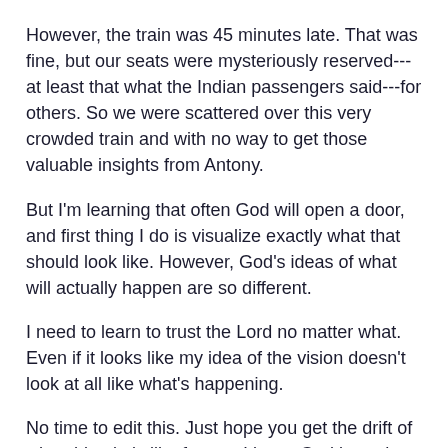However, the train was 45 minutes late. That was fine, but our seats were mysteriously reserved---at least that what the Indian passengers said---for others. So we were scattered over this very crowded train and with no way to get those valuable insights from Antony.
But I'm learning that often God will open a door, and first thing I do is visualize exactly what that should look like. However, God's ideas of what will actually happen are so different.
I need to learn to trust the Lord no matter what. Even if it looks like my idea of the vision doesn't look at all like what's happening.
No time to edit this. Just hope you get the drift of what this trip is like for me. I know God brought me here to write this story. But getting that story is proving harder than I anticipated.
Hope you'll pray for that for me. An Indian pastor and his wife